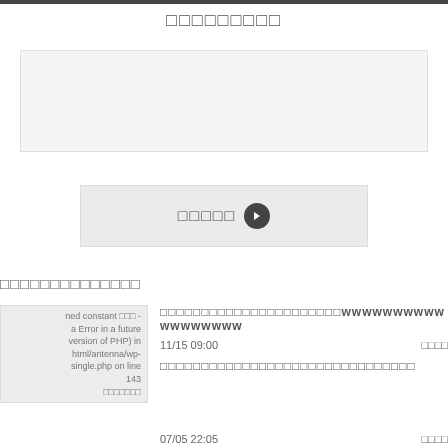□□□□□□□□□
[Figure (other): Gray rectangle placeholder/image area]
□□□□□ →
□□□□□□□□□□□□□□
ned constant □□□ - a Error in a future version of PHP) in html/antenna/wp-single.php on line 143 □□□□□□□
□□□□□□□□□□□□□□□□□□□□□□wwwwwwwwwwwwwwwwww
11/15 09:00    □□□□
□□□□□□□□□□□□□□□□□□□□□□□□□□□□□□□
07/05 22:05    □□□□